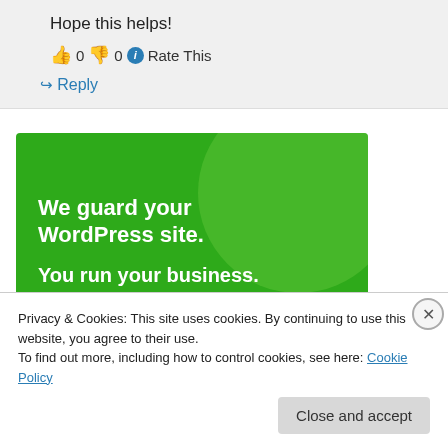Hope this helps!
👍 0 👎 0 ℹ Rate This
↪ Reply
[Figure (illustration): Green banner advertisement for WordPress security service. Text reads: 'We guard your WordPress site. You run your business.' on a green background with circular decorative element.]
Privacy & Cookies: This site uses cookies. By continuing to use this website, you agree to their use.
To find out more, including how to control cookies, see here: Cookie Policy
Close and accept